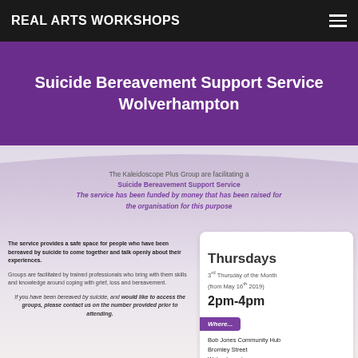REAL ARTS WORKSHOPS
Suicide Bereavement Support Service Wolverhampton
The Kaleidoscope Plus Group are facilitating a Suicide Bereavement Support Service
The service has been funded by money that has been raised for the organisation for this purpose
The service provides a safe space for people who have been bereaved by suicide to come together and talk openly about their experiences.
Groups are facilitated by trained professionals who bring with them skills and knowledge around coping with grief, loss and bereavement.
If you have been bereaved by suicide, and would like to access the groups, please contact us on the number provided prior to attending.
Held...
Thursdays
3rd Thursday of the Month
(from May 16th 2019)
2pm-4pm
Where...
Bob Jones Community Hub
Bromley Street
Wolverhampton
West Midlands
WV5 3AS